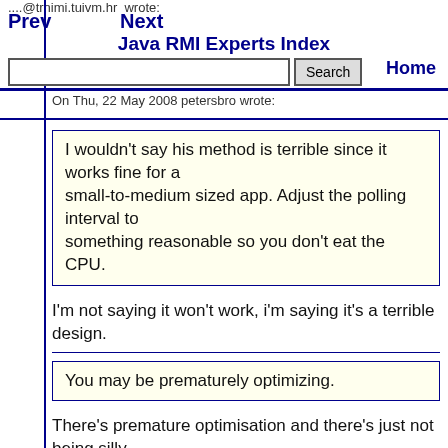....@trnimi.tuivm.hr  wrote:
Prev   Next
Java RMI Experts Index
On Thu, 22 May 2008 petersbro wrote:
Search
Headers   Help   Home
I wouldn't say his method is terrible since it works fine for a small-to-medium sized app. Adjust the polling interval to something reasonable so you don't eat the CPU.
I'm not saying it won't work, i'm saying it's a terrible design.
You may be prematurely optimizing.
There's premature optimisation and there's just not being silly.
I totally agree with you that synchronization is